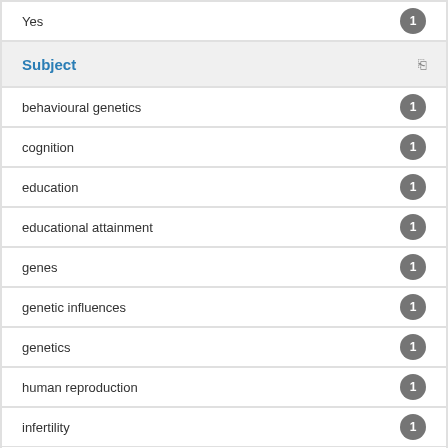Yes 1
Subject
behavioural genetics 1
cognition 1
education 1
educational attainment 1
genes 1
genetic influences 1
genetics 1
human reproduction 1
infertility 1